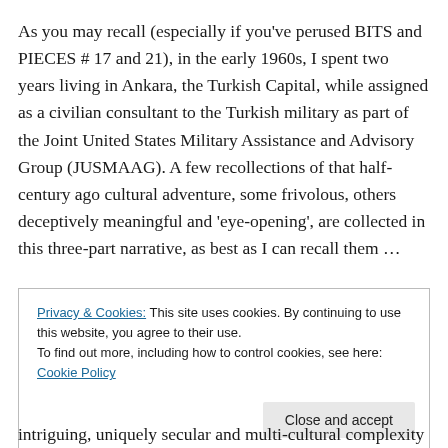As you may recall (especially if you've perused BITS and PIECES # 17 and 21), in the early 1960s, I spent two years living in Ankara, the Turkish Capital, while assigned as a civilian consultant to the Turkish military as part of the Joint United States Military Assistance and Advisory Group (JUSMAAG). A few recollections of that half-century ago cultural adventure, some frivolous, others deceptively meaningful and 'eye-opening', are collected in this three-part narrative, as best as I can recall them …
Privacy & Cookies: This site uses cookies. By continuing to use this website, you agree to their use. To find out more, including how to control cookies, see here: Cookie Policy
Close and accept
intriguing, uniquely secular and multi-cultural complexity